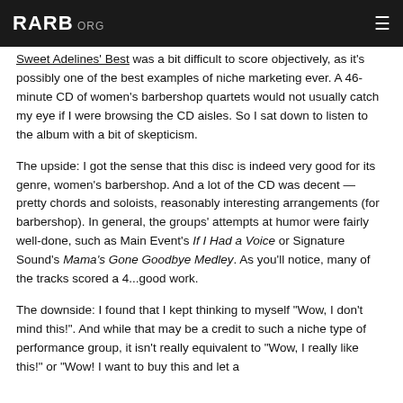RARB.ORG
Sweet Adelines' Best was a bit difficult to score objectively, as it's possibly one of the best examples of niche marketing ever. A 46-minute CD of women's barbershop quartets would not usually catch my eye if I were browsing the CD aisles. So I sat down to listen to the album with a bit of skepticism.
The upside: I got the sense that this disc is indeed very good for its genre, women's barbershop. And a lot of the CD was decent — pretty chords and soloists, reasonably interesting arrangements (for barbershop). In general, the groups' attempts at humor were fairly well-done, such as Main Event's If I Had a Voice or Signature Sound's Mama's Gone Goodbye Medley. As you'll notice, many of the tracks scored a 4...good work.
The downside: I found that I kept thinking to myself "Wow, I don't mind this!". And while that may be a credit to such a niche type of performance group, it isn't really equivalent to "Wow, I really like this!" or "Wow! I want to buy this and let a